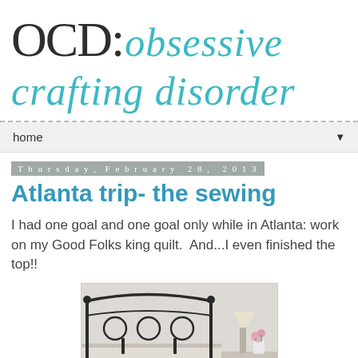OCD: obsessive crafting disorder
home
Thursday, February 28, 2013
Atlanta trip- the sewing
I had one goal and one goal only while in Atlanta: work on my Good Folks king quilt.  And...I even finished the top!!
[Figure (photo): A bed with a decorative iron headboard covered with a colorful patchwork quilt in blues, greens, pinks and yellows. A nightstand with flowers and a lamp is visible to the right.]